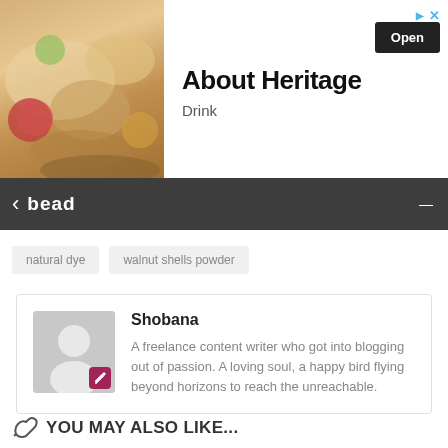[Figure (photo): Advertisement banner for 'About Heritage Drink' app with food/drink photo on left and Open button]
bead
natural dye
walnut shells powder
Shobana
A freelance content writer who got into blogging out of passion. A loving soul, a happy bird flying beyond horizons to reach the unreachable.
YOU MAY ALSO LIKE...
[Figure (photo): Thumbnail image of drink/liquid in glass with comment badge showing 0]
CRACKED TOOTH
[Figure (photo): Thumbnail of person with cracked tooth article, comment badge showing 0]